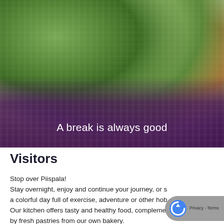[Figure (photo): Photo of green smoothies or herb-based drinks in glasses, with fresh green herb sprigs (likely oregano or similar) arranged on a colorful woven textile/mat. The lower portion of the image has a dark purple overlay with white text reading 'A break is always good'.]
A break is always good
Visitors
Stop over Piispala!
Stay overnight, enjoy and continue your journey, or spend a colorful day full of exercise, adventure or other hob...
Our kitchen offers tasty and healthy food, compleme...
by fresh pastries from our own bakery.